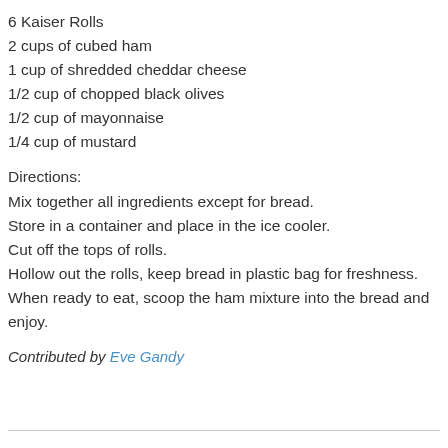6 Kaiser Rolls
2 cups of cubed ham
1 cup of shredded cheddar cheese
1/2 cup of chopped black olives
1/2 cup of mayonnaise
1/4 cup of mustard
Directions:
Mix together all ingredients except for bread.
Store in a container and place in the ice cooler.
Cut off the tops of rolls.
Hollow out the rolls, keep bread in plastic bag for freshness.
When ready to eat, scoop the ham mixture into the bread and enjoy.
Contributed by Eve Gandy